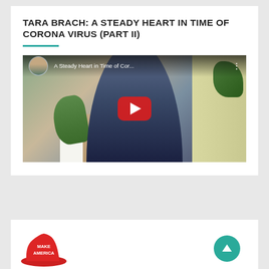TARA BRACH: A STEADY HEART IN TIME OF CORONA VIRUS (PART II)
[Figure (screenshot): YouTube video thumbnail showing a woman in a dark top with a YouTube play button overlay. Video title reads 'A Steady Heart in Time of Cor...' with a circular avatar of a man on the left.]
[Figure (illustration): Partial view of a red MAKE AMERICA hat illustration on the left, and a swirling figure illustration on the right at the bottom of the page.]